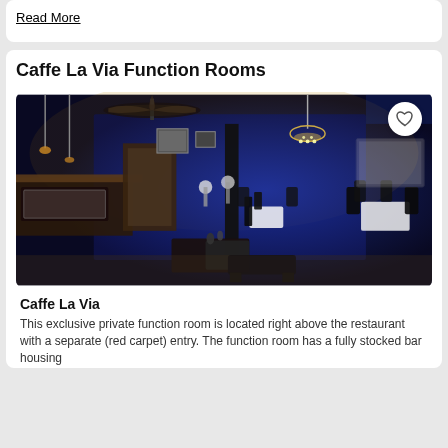Read More
Caffe La Via Function Rooms
[Figure (photo): Interior of Caffe La Via function room with blue ambient lighting, bar area on left, chandelier, black chairs and white-clothed tables, ceiling fan visible at top]
Caffe La Via
This exclusive private function room is located right above the restaurant with a separate (red carpet) entry. The function room has a fully stocked bar housing